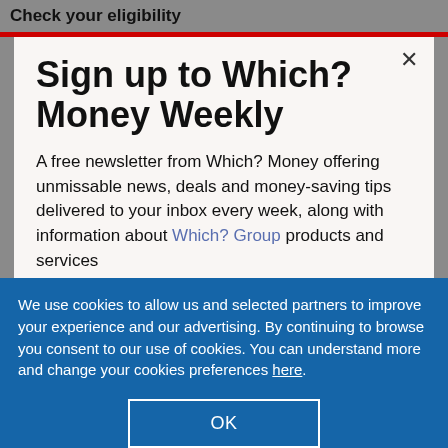Check your eligibility
Sign up to Which? Money Weekly
A free newsletter from Which? Money offering unmissable news, deals and money-saving tips delivered to your inbox every week, along with information about Which? Group products and services
We use cookies to allow us and selected partners to improve your experience and our advertising. By continuing to browse you consent to our use of cookies. You can understand more and change your cookies preferences here.
OK